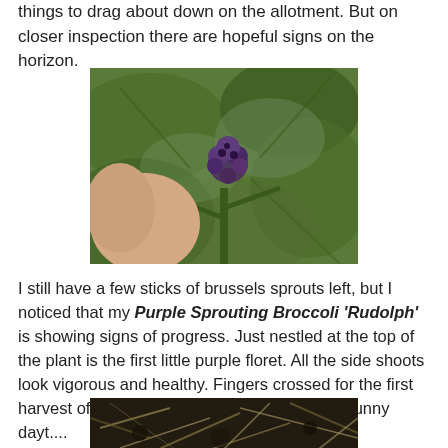things to drag about down on the allotment. But on closer inspection there are hopeful signs on the horizon.
[Figure (photo): Close-up photo of a hand holding a small purple sprouting broccoli floret nestled among large green leaves of a brassica plant.]
I still have a few sticks of brussels sprouts left, but I noticed that my Purple Sprouting Broccoli 'Rudolph' is showing signs of progress. Just nestled at the top of the plant is the first little purple floret. All the side shoots look vigorous and healthy. Fingers crossed for the first harvest of the year. All I need is a few warm, sunny dayt....
[Figure (photo): Close-up photo of dark soil and dry plant debris, showing the ground around the base of garden plants.]